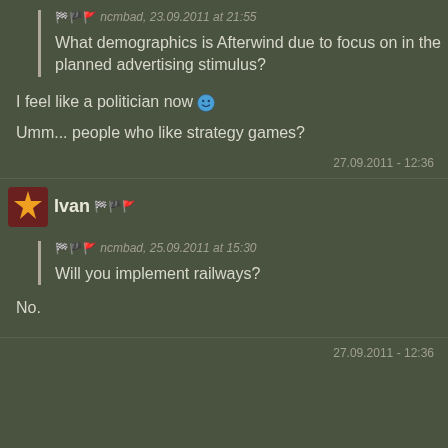ncmbad, 23.09.2011 at 21:55 — What demographics is Afterwind due to focus on in the planned advertising stimulus?
I feel like a politician now 🙂
Umm... people who like strategy games?
27.09.2011 - 12:36
Ivan
ncmbad, 25.09.2011 at 15:30 — Will you implement railways?
No.
27.09.2011 - 12:36